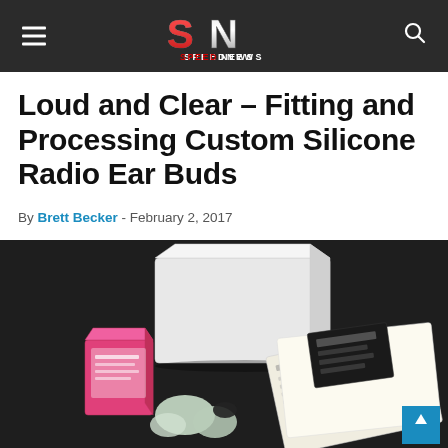SPEEDNEWS
Loud and Clear – Fitting and Processing Custom Silicone Radio Ear Buds
By Brett Becker - February 2, 2017
[Figure (photo): A white cardboard box, a pink product box, silicone ear mold impressions, and paperwork/forms laid out on a dark surface.]